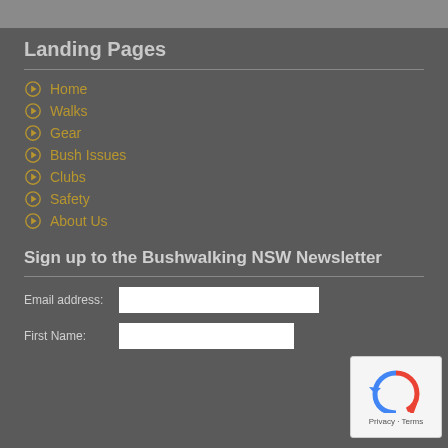Landing Pages
Home
Walks
Gear
Bush Issues
Clubs
Safety
About Us
Sign up to the Bushwalking NSW Newsletter
Email address:
First Name: